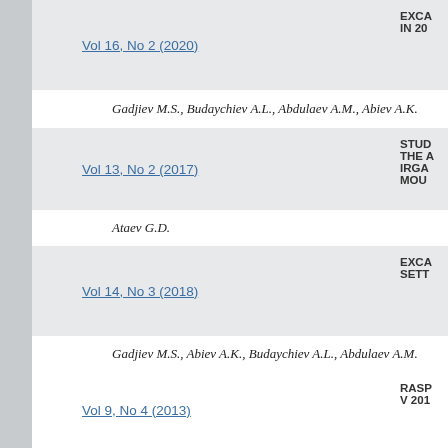Vol 16, No 2 (2020)
EXCA... IN 20...
Gadjiev M.S., Budaychiev A.L., Abdulaev A.M., Abiev A.K.
Vol 13, No 2 (2017)
STUD... THE A... IRGA... MOU...
Ataev G.D.
Vol 14, No 3 (2018)
EXCA... SETT...
Gadjiev M.S., Abiev A.K., Budaychiev A.L., Abdulaev A.M.
Vol 9, No 4 (2013)
RASP... V 201...